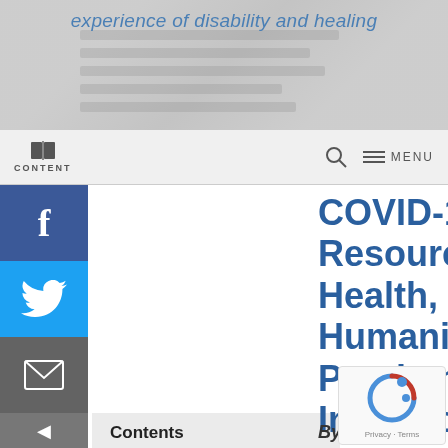experience of disability and healing
[Figure (screenshot): Website navigation bar with book/content icon on left, search and menu icons on right]
[Figure (illustration): Social media sidebar with Facebook, Twitter, and Email share buttons]
Contents
ETHICS
DISABILITY
ART
MUSIC
THEATRE
WRITING
DANCE
COVID-19 Resources: Health, Humanities, and Pandemic Intersections